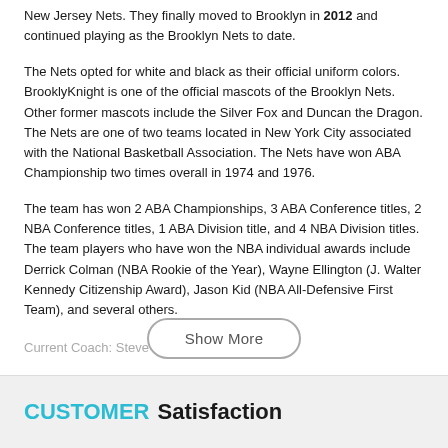New Jersey Nets. They finally moved to Brooklyn in 2012 and continued playing as the Brooklyn Nets to date.
The Nets opted for white and black as their official uniform colors. BrooklyKnight is one of the official mascots of the Brooklyn Nets. Other former mascots include the Silver Fox and Duncan the Dragon. The Nets are one of two teams located in New York City associated with the National Basketball Association. The Nets have won ABA Championship two times overall in 1974 and 1976.
The team has won 2 ABA Championships, 3 ABA Conference titles, 2 NBA Conference titles, 1 ABA Division title, and 4 NBA Division titles. The team players who have won the NBA individual awards include Derrick Colman (NBA Rookie of the Year), Wayne Ellington (J. Walter Kennedy Citizenship Award), Jason Kid (NBA All-Defensive First Team), and several others.
Current Coach: Steve N...
CUSTOMER Satisfaction